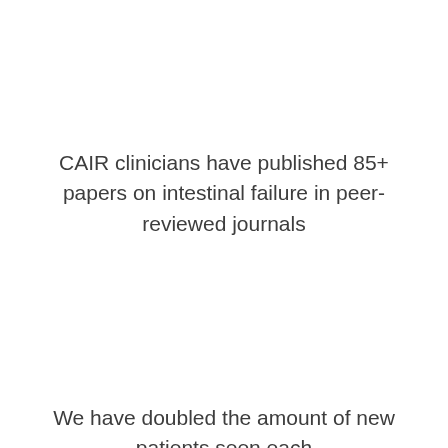CAIR clinicians have published 85+ papers on intestinal failure in peer-reviewed journals
We have doubled the amount of new patients seen each